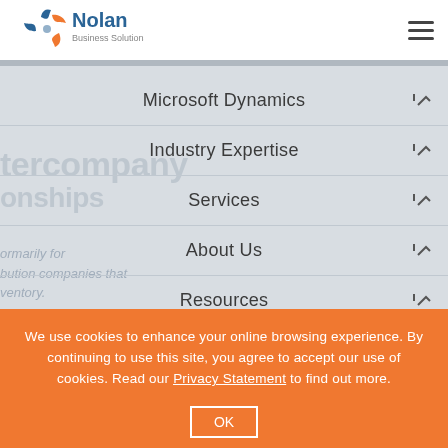[Figure (logo): Nolan Business Solutions logo with colorful pinwheel icon and blue text]
[Figure (other): Hamburger menu icon (three horizontal lines)]
Microsoft Dynamics
Industry Expertise
Services
About Us
Resources
We use cookies to enhance your online browsing experience. By continuing to use this site, you agree to accept our use of cookies. Read our Privacy Statement to find out more.
OK